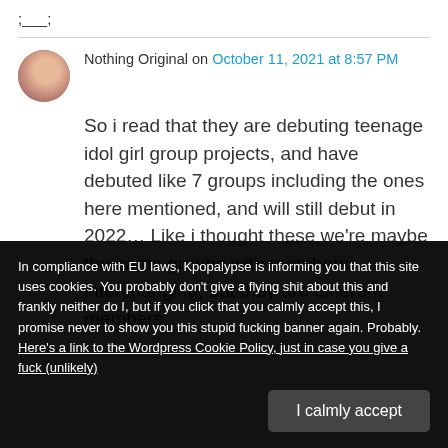;____;
Nothing Original on October 11, 2021 at 8:57 PM
So i read that they are debuting teenage idol girl group projects, and have debuted like 7 groups including the ones here mentioned, and will still debut in 2022… Like i thought these we're maybe the same groups with members interchanging, but they are different members
In compliance with EU laws, Kpopalypse is informing you that this site uses cookies. You probably don't give a flying shit about this and frankly neither do I, but if you click that you calmly accept this, I promise never to show you this stupid fucking banner again. Probably. Here's a link to the Wordpress Cookie Policy, just in case you give a fuck (unlikely)
I calmly accept